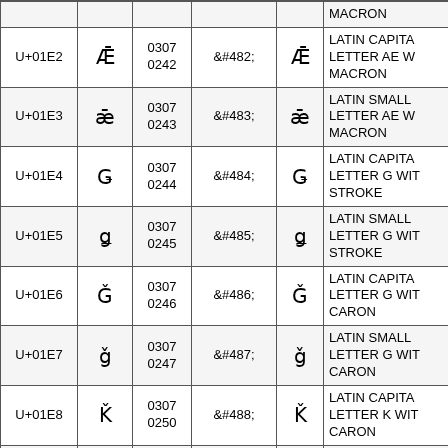| Code | Char | Oct | HTML Entity | Render | Name |
| --- | --- | --- | --- | --- | --- |
|  |  |  |  |  | MACRON |
| U+01E2 | Ǣ | 0307 0242 | &#482; | Ǣ | LATIN CAPITAL LETTER AE WITH MACRON |
| U+01E3 | ǣ | 0307 0243 | &#483; | ǣ | LATIN SMALL LETTER AE WITH MACRON |
| U+01E4 | Ǥ | 0307 0244 | &#484; | Ǥ | LATIN CAPITAL LETTER G WITH STROKE |
| U+01E5 | ǥ | 0307 0245 | &#485; | ǥ | LATIN SMALL LETTER G WITH STROKE |
| U+01E6 | Ǧ | 0307 0246 | &#486; | Ǧ | LATIN CAPITAL LETTER G WITH CARON |
| U+01E7 | ǧ | 0307 0247 | &#487; | ǧ | LATIN SMALL LETTER G WITH CARON |
| U+01E8 | Ǩ | 0307 0250 | &#488; | Ǩ | LATIN CAPITAL LETTER K WITH CARON |
| U+01E9 | ǩ | 0307 0251 | &#489; | ǩ | LATIN SMALL LETTER K WITH |